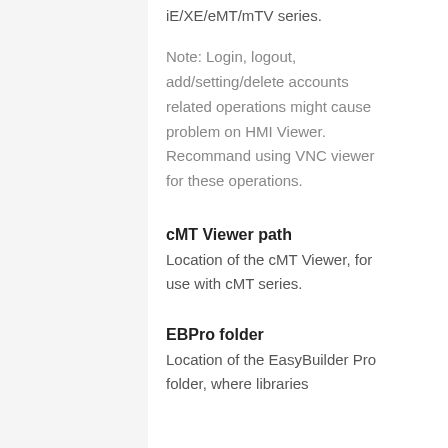iE/XE/eMT/mTV series.
Note: Login, logout, add/setting/delete accounts related operations might cause problem on HMI Viewer. Recommand using VNC viewer for these operations.
cMT Viewer path
Location of the cMT Viewer, for use with cMT series.
EBPro folder
Location of the EasyBuilder Pro folder, where libraries